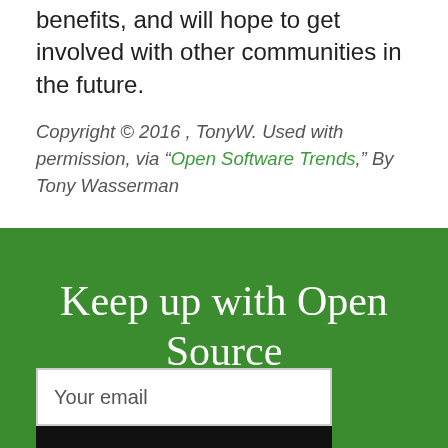benefits, and will hope to get involved with other communities in the future.
Copyright © 2016 , TonyW. Used with permission, via “Open Software Trends,” By Tony Wasserman
Keep up with Open Source
Your email